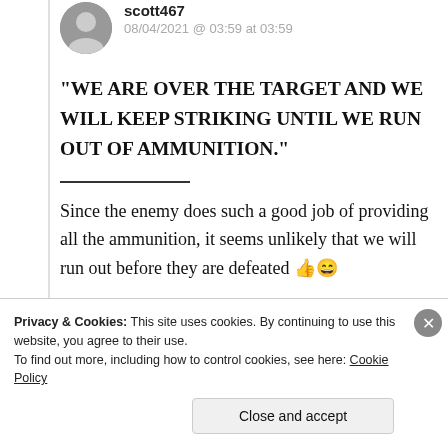[Figure (photo): Circular avatar photo of user scott467]
scott467
08/04/2021 @ 03:59 at 03:59
“WE ARE OVER THE TARGET AND WE WILL KEEP STRIKING UNTIL WE RUN OUT OF AMMUNITION.”
Since the enemy does such a good job of providing all the ammunition, it seems unlikely that we will run out before they are defeated 👍😄
Privacy & Cookies: This site uses cookies. By continuing to use this website, you agree to their use.
To find out more, including how to control cookies, see here: Cookie Policy
Close and accept